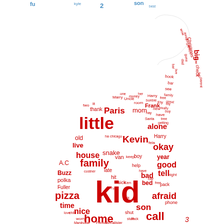[Figure (infographic): Word cloud shaped like a Christmas ornament (round bulb with a hook/candy cane at top). The words are in red and some in blue/teal at the top. The largest words visible are 'kid', 'little', 'home', 'family', 'pizza', 'house', 'nice', 'time', 'alone', 'okay', 'good', 'tell', 'afraid', 'call', 'son', 'live', 'Paris', 'Kevin', 'Frank', 'Christmas', 'big', 'check', 'thank', 'mom', along with many smaller words. A page number '3' appears at the bottom right and '2' at the top center.]